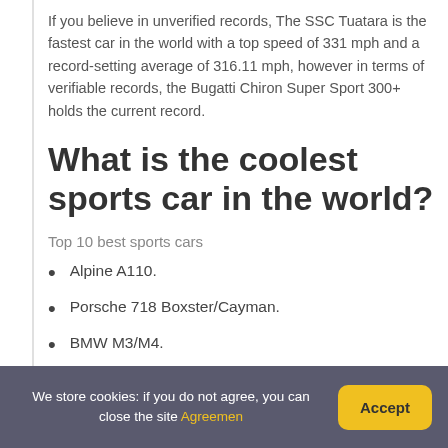If you believe in unverified records, The SSC Tuatara is the fastest car in the world with a top speed of 331 mph and a record-setting average of 316.11 mph, however in terms of verifiable records, the Bugatti Chiron Super Sport 300+ holds the current record.
What is the coolest sports car in the world?
Top 10 best sports cars
Alpine A110.
Porsche 718 Boxster/Cayman.
BMW M3/M4.
We store cookies: if you do not agree, you can close the site Agreemen